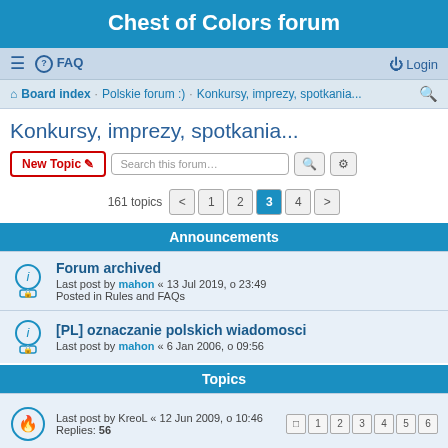Chest of Colors forum
≡  FAQ   Login
⌂ Board index · Polskie forum :) · Konkursy, imprezy, spotkania... 🔍
Konkursy, imprezy, spotkania...
New Topic  Search this forum…  161 topics  < 1 2 3 4 >
Announcements
Forum archived
Last post by mahon « 13 Jul 2019, o 23:49
Posted in Rules and FAQs
[PL] oznaczanie polskich wiadomosci
Last post by mahon « 6 Jan 2006, o 09:56
Topics
Last post by KreoL « 12 Jun 2009, o 10:46
Replies: 56
1 2 3 4 5 6
[PL] GOLDEN DEMON GERMANY 2009